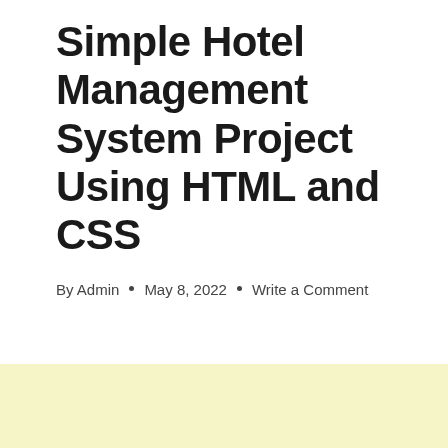Simple Hotel Management System Project Using HTML and CSS
By Admin · May 8, 2022 · Write a Comment